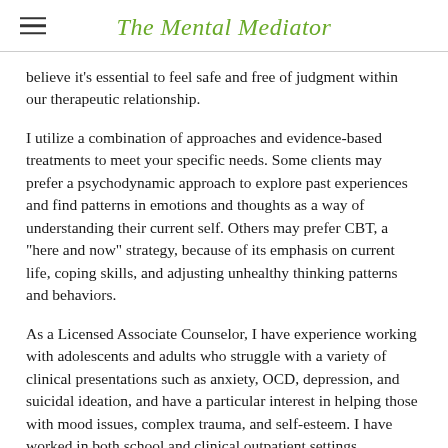The Mental Mediator
believe it's essential to feel safe and free of judgment within our therapeutic relationship.
I utilize a combination of approaches and evidence-based treatments to meet your specific needs. Some clients may prefer a psychodynamic approach to explore past experiences and find patterns in emotions and thoughts as a way of understanding their current self. Others may prefer CBT, a "here and now" strategy, because of its emphasis on current life, coping skills, and adjusting unhealthy thinking patterns and behaviors.
As a Licensed Associate Counselor, I have experience working with adolescents and adults who struggle with a variety of clinical presentations such as anxiety, OCD, depression, and suicidal ideation, and have a particular interest in helping those with mood issues, complex trauma, and self-esteem. I have worked in both school and clinical outpatient settings.